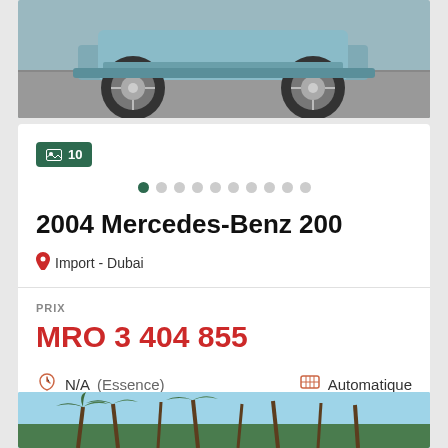[Figure (photo): Bottom view of a Mercedes-Benz car showing wheels and undercarriage on a road surface, teal/blue-grey color]
10
2004 Mercedes-Benz 200
Import - Dubai
PRIX
MRO 3 404 855
N/A (Essence)
Automatique
[Figure (photo): Outdoor scene with palm trees and blue sky, partial view of a car listing]